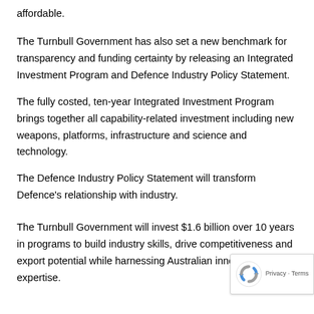affordable.
The Turnbull Government has also set a new benchmark for transparency and funding certainty by releasing an Integrated Investment Program and Defence Industry Policy Statement.
The fully costed, ten-year Integrated Investment Program brings together all capability-related investment including new weapons, platforms, infrastructure and science and technology.
The Defence Industry Policy Statement will transform Defence's relationship with industry.
The Turnbull Government will invest $1.6 billion over 10 years in programs to build industry skills, drive competitiveness and export potential while harnessing Australian innovation and expertise.